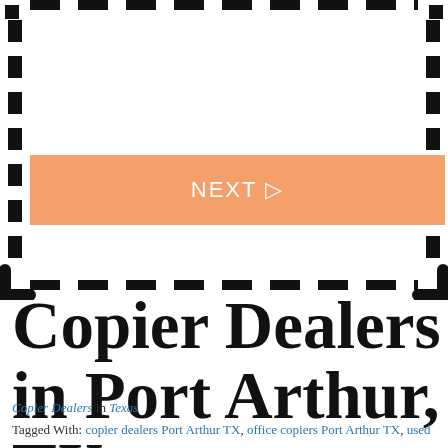[Figure (other): Dashed border rectangle with thick black dashes on white background, forming a decorative box outline]
[Figure (other): Orange/salmon colored button with white text 'NEXT ▷']
Copier Dealers in Port Arthur, TX
Copier Dealers in Texas
Tagged With: copier dealers Port Arthur TX, office copiers Port Arthur TX, used